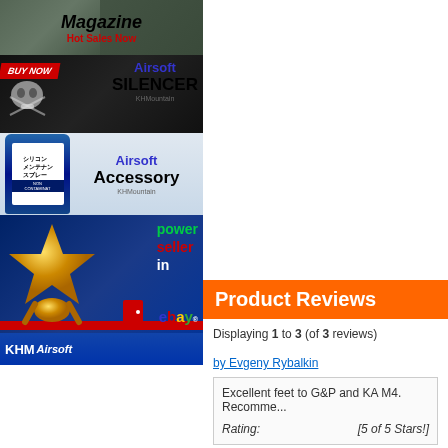[Figure (screenshot): Airsoft Magazine ad banner with dark military green background, bold italic 'Magazine' text and red 'Hot Sales Now' text]
[Figure (screenshot): Airsoft Silencer ad with dark background, BUY NOW red badge, skull and crossbones, 'Airsoft SILENCER' text in blue/black, KHMountain branding]
[Figure (screenshot): Airsoft Accessory ad with silicone spray can product, Japanese text on label, 'Airsoft Accessory' text, KHMountain branding]
[Figure (screenshot): Power Seller eBay ad with gold star trophy, 'power seller in' text in green/red/white, eBay logo, KHM Airsoft banner at bottom]
Product Reviews
Displaying 1 to 3 (of 3 reviews)
by Evgeny Rybalkin
Excellent feet to G&P and KA M4. Recomme...
Rating:    [5 of 5 Stars!]
by Vladimer Lobzhanidze